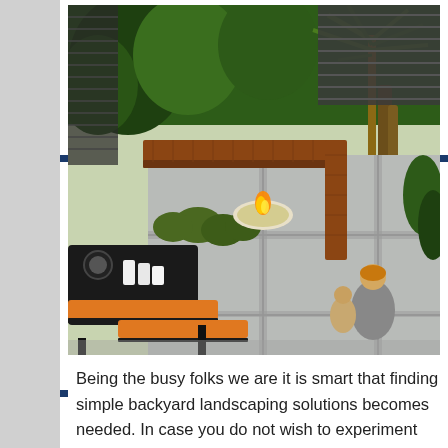[Figure (photo): Aerial view of a modern backyard patio with wooden L-shaped bench seating, a central fire bowl on stone pavers, ornamental grasses and lush greenery, a dark outdoor dining table with orange bench seat, and a woman with a child in the background. Wooden slatted fence and large palm-like trees visible.]
Being the busy folks we are it is smart that finding simple backyard landscaping solutions becomes needed. In case you do not wish to experiment too much on plat sorts